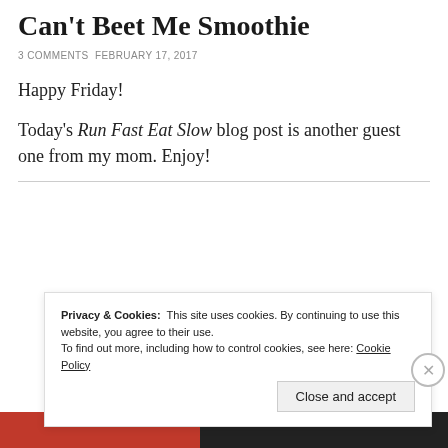Can't Beet Me Smoothie
3 COMMENTS FEBRUARY 17, 2017
Happy Friday!
Today's Run Fast Eat Slow blog post is another guest one from my mom. Enjoy!
Privacy & Cookies: This site uses cookies. By continuing to use this website, you agree to their use. To find out more, including how to control cookies, see here: Cookie Policy
Close and accept